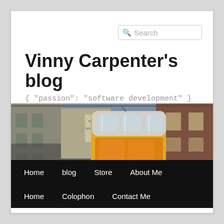Search
Vinny Carpenter's blog
{ "passion": "software development" }
[Figure (photo): Street-level photo of a yellow tram/funicular car ascending a narrow European city street, flanked by old stone and brick buildings. A hotel sign is visible in the background.]
Home  blog  Store  About Me  Home  Colophon  Contact Me
TAG ARCHIVES: WORKPLACE